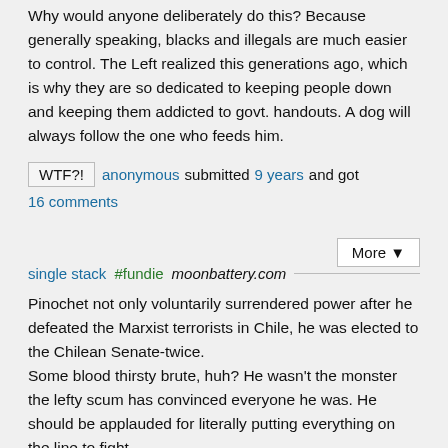Why would anyone deliberately do this? Because generally speaking, blacks and illegals are much easier to control. The Left realized this generations ago, which is why they are so dedicated to keeping people down and keeping them addicted to govt. handouts. A dog will always follow the one who feeds him.
WTF?! anonymous submitted 9 years and got
16 comments
More ▼
single stack  #fundie  moonbattery.com
Pinochet not only voluntarily surrendered power after he defeated the Marxist terrorists in Chile, he was elected to the Chilean Senate-twice.
Some blood thirsty brute, huh? He wasn't the monster the lefty scum has convinced everyone he was. He should be applauded for literally putting everything on the line to fight